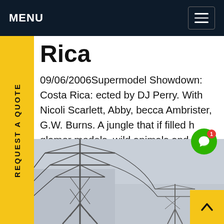MENU
Rica
09/06/2006Supermodel Showdown: Costa Rica: ected by DJ Perry. With Nicoli Scarlett, Abby, becca Ambrister, G.W. Burns. A jungle that if filled h glamor models, wild animals and challenges t will tickle your fancy. The journey of these men in an action packed eight episodic series t will leave you on the edge of your seat.Get price
[Figure (photo): Power transmission towers/pylons against a grey sky]
REQUEST A QUOTE